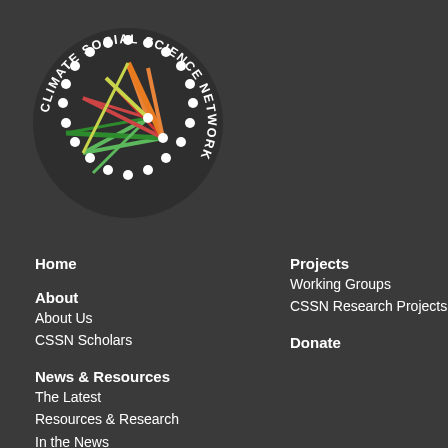[Figure (logo): Climate Social Science Network circular logo with colored lines connecting white dots arranged in a circle, text 'CLIMATE SOCIAL SCIENCE NETWORK' around the perimeter on dark background]
Home
About
About Us
CSSN Scholars
News & Resources
The Latest
Resources & Research
In the News
Projects
Working Groups
CSSN Research Projects
Donate